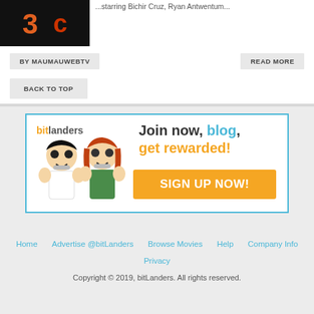[Figure (screenshot): Dark thumbnail image with orange and red stylized characters/numbers]
...starring Bichir Cruz, Ryan Antwentum...
BY MAUMAUWEBTV
READ MORE
BACK TO TOP
[Figure (infographic): bitLanders advertisement banner. Logo: bitlanders. Text: Join now, blog, get rewarded! Button: SIGN UP NOW! with cartoon characters of a boy and girl.]
Home  Advertise @bitLanders  Browse Movies  Help  Company Info  Privacy
Copyright © 2019, bitLanders. All rights reserved.